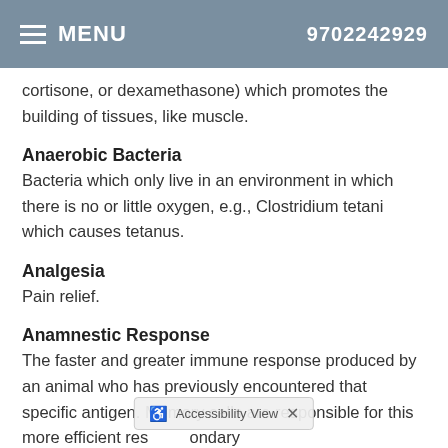MENU  9702242929
cortisone, or dexamethasone) which promotes the building of tissues, like muscle.
Anaerobic Bacteria
Bacteria which only live in an environment in which there is no or little oxygen, e.g., Clostridium tetani which causes tetanus.
Analgesia
Pain relief.
Anamnestic Response
The faster and greater immune response produced by an animal who has previously encountered that specific antigen. Memory cells are responsible for this more efficient res         ondary